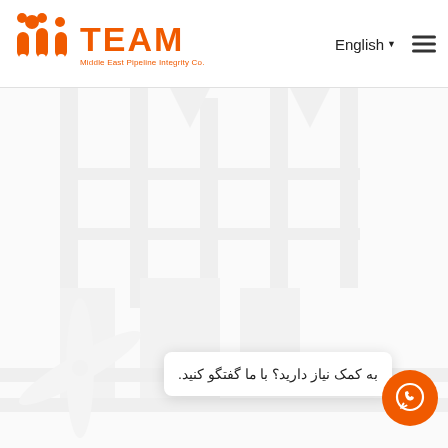[Figure (logo): TEAM Middle East Pipeline Integrity Co. logo with orange figures and orange TEAM text]
English▼
[Figure (other): Hamburger menu icon (three horizontal lines)]
[Figure (photo): Faded background image showing pipeline/industrial site in light gray tones]
به کمک نیاز دارید؟ با ما گفتگو کنید.
[Figure (other): Orange circular WhatsApp chat button with white speech bubble icon]